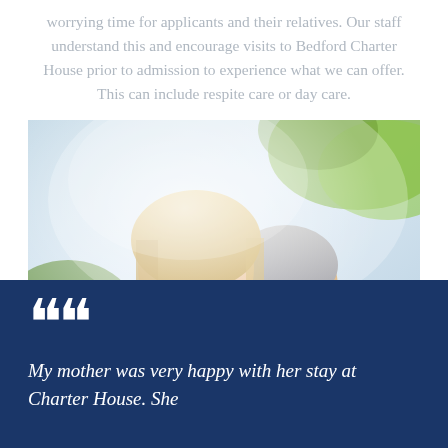worrying time for applicants and their relatives. Our staff understand this and encourage visits to Bedford Charter House prior to admission to experience what we can offer. This can include respite care or day care.
[Figure (photo): Two women smiling and embracing outdoors — a younger woman with blonde hair and an older woman with grey hair, both appearing happy and close.]
““ My mother was very happy with her stay at Charter House. She